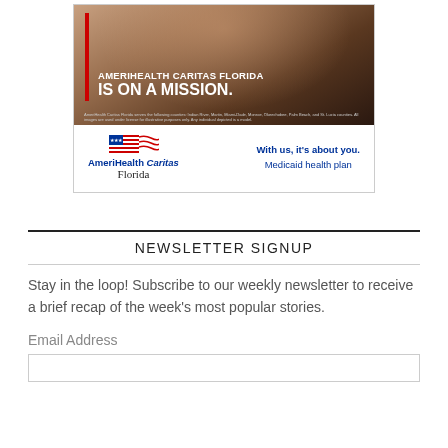[Figure (illustration): AmeriHealth Caritas Florida advertisement showing smiling woman with text 'AMERIHEALTH CARITAS FLORIDA IS ON A MISSION.' with red vertical bar accent and small disclaimer text. Below: AmeriHealth Caritas Florida logo with American flag graphic and tagline 'With us, it's about you. Medicaid health plan']
NEWSLETTER SIGNUP
Stay in the loop! Subscribe to our weekly newsletter to receive a brief recap of the week's most popular stories.
Email Address